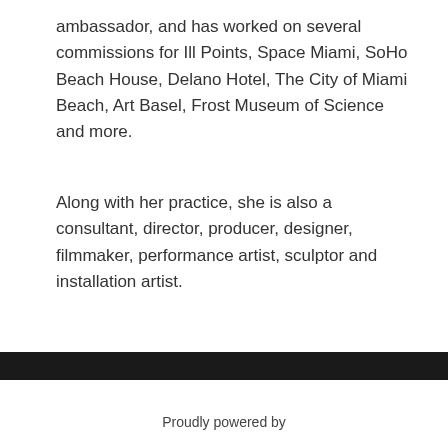ambassador, and has worked on several commissions for Ill Points, Space Miami, SoHo Beach House, Delano Hotel, The City of Miami Beach, Art Basel, Frost Museum of Science and more.
Along with her practice, she is also a consultant, director, producer, designer, filmmaker, performance artist, sculptor and installation artist.
Proudly powered by